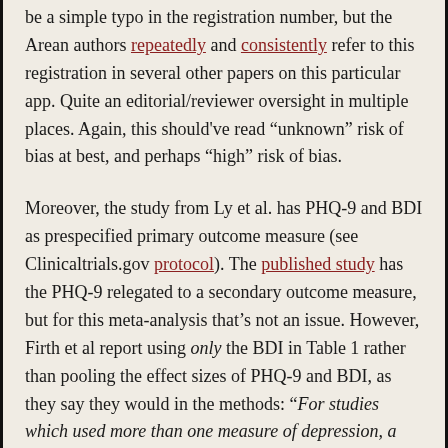be a simple typo in the registration number, but the Arean authors repeatedly and consistently refer to this registration in several other papers on this particular app. Quite an editorial/reviewer oversight in multiple places. Again, this should've read "unknown" risk of bias at best, and perhaps "high" risk of bias.
Moreover, the study from Ly et al. has PHQ-9 and BDI as prespecified primary outcome measure (see Clinicaltrials.gov protocol). The published study has the PHQ-9 relegated to a secondary outcome measure, but for this meta-analysis that's not an issue. However, Firth et al report using only the BDI in Table 1 rather than pooling the effect sizes of PHQ-9 and BDI, as they say they would in the methods: "For studies which used more than one measure of depression, a mean